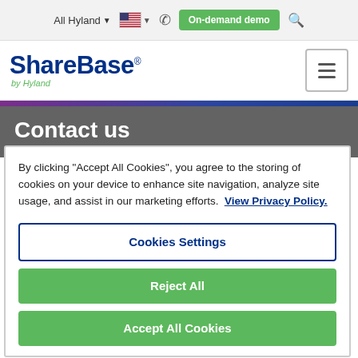All Hyland | [US flag] | Phone | On-demand demo | Search
[Figure (logo): ShareBase by Hyland logo with hamburger menu icon]
Contact us
By clicking "Accept All Cookies", you agree to the storing of cookies on your device to enhance site navigation, analyze site usage, and assist in our marketing efforts. View Privacy Policy.
Cookies Settings
Reject All
Accept All Cookies